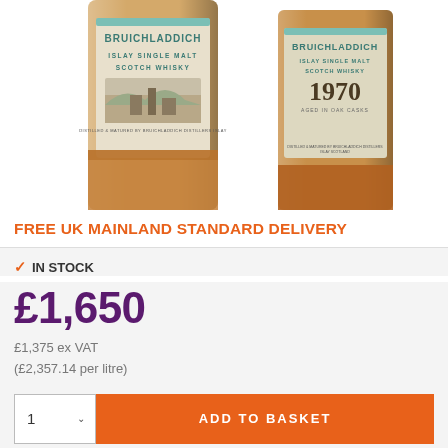[Figure (photo): Two Bruichladdich Islay Single Malt Scotch Whisky bottles side by side — left bottle has a light-colored label reading BRUICHLADDICH ISLAY SINGLE MALT SCOTCH WHISKY, right bottle has similar label with 1970 and AGED IN OAK CASKS text.]
FREE UK MAINLAND STANDARD DELIVERY
✓ IN STOCK
£1,650
£1,375 ex VAT
(£2,357.14 per litre)
ADD TO BASKET